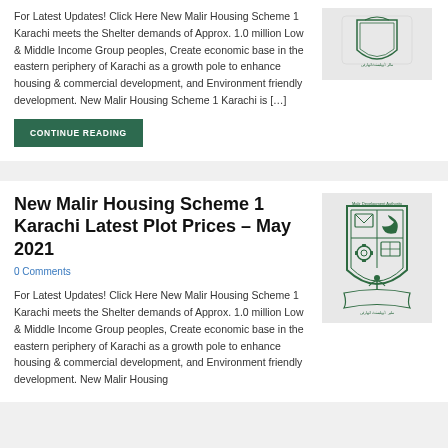For Latest Updates! Click Here New Malir Housing Scheme 1 Karachi meets the Shelter demands of Approx. 1.0 million Low & Middle Income Group peoples, Create economic base in the eastern periphery of Karachi as a growth pole to enhance housing & commercial development, and Environment friendly development. New Malir Housing Scheme 1 Karachi is […]
[Figure (logo): Malir Development Authority shield/crest logo]
CONTINUE READING
New Malir Housing Scheme 1 Karachi Latest Plot Prices – May 2021
0 Comments
[Figure (logo): Malir Development Authority shield/crest logo with four quadrants showing various symbols]
For Latest Updates! Click Here New Malir Housing Scheme 1 Karachi meets the Shelter demands of Approx. 1.0 million Low & Middle Income Group peoples, Create economic base in the eastern periphery of Karachi as a growth pole to enhance housing & commercial development. New Malir Housing